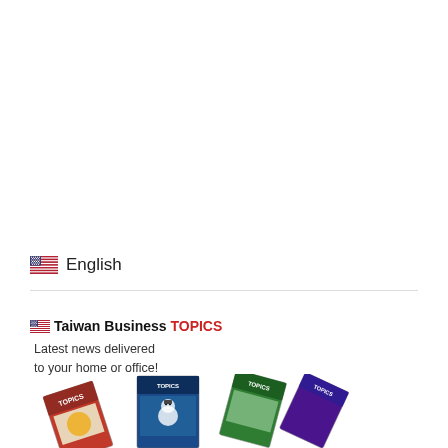English
[Figure (logo): Taiwan Business TOPICS logo with US flag icon, tagline 'Latest news delivered to your home or office!' and fan of magazine covers]
[Figure (photo): Fan of Taiwan Business Topics magazine covers]